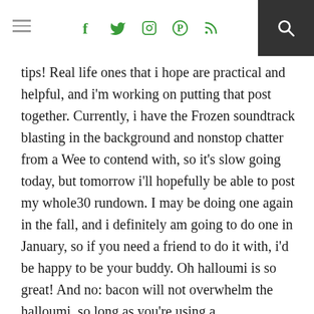f  ✦  ✦  ✦  ✦  [search]
tips! Real life ones that i hope are practical and helpful, and i'm working on putting that post together. Currently, i have the Frozen soundtrack blasting in the background and nonstop chatter from a Wee to contend with, so it's slow going today, but tomorrow i'll hopefully be able to post my whole30 rundown. I may be doing one again in the fall, and i definitely am going to do one in January, so if you need a friend to do it with, i'd be happy to be your buddy. Oh halloumi is so great! And no: bacon will not overwhelm the halloumi, so long as you're using a